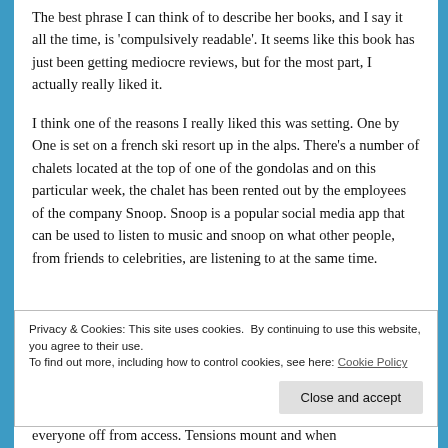The best phrase I can think of to describe her books, and I say it all the time, is 'compulsively readable'. It seems like this book has just been getting mediocre reviews, but for the most part, I actually really liked it.
I think one of the reasons I really liked this was setting. One by One is set on a french ski resort up in the alps. There's a number of chalets located at the top of one of the gondolas and on this particular week, the chalet has been rented out by the employees of the company Snoop. Snoop is a popular social media app that can be used to listen to music and snoop on what other people, from friends to celebrities, are listening to at the same time.
Privacy & Cookies: This site uses cookies. By continuing to use this website, you agree to their use.
To find out more, including how to control cookies, see here: Cookie Policy
everyone off from access. Tensions mount and when